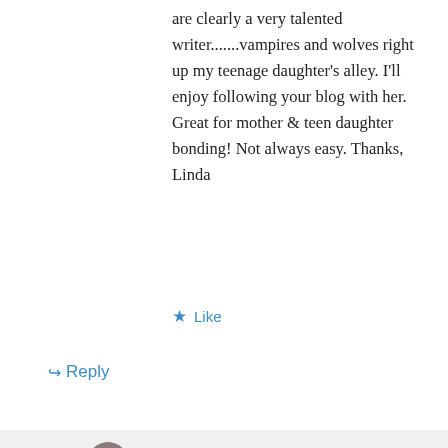are clearly a very talented writer.......vampires and wolves right up my teenage daughter's alley. I'll enjoy following your blog with her. Great for mother & teen daughter bonding! Not always easy. Thanks, Linda
★ Like
↪ Reply
Deidra Alexander on December 25, 2011 at 3:12 pm
Privacy & Cookies: This site uses cookies. By continuing to use this website, you agree to their use. To find out more, including how to control cookies, see here: Cookie Policy
Close and accept